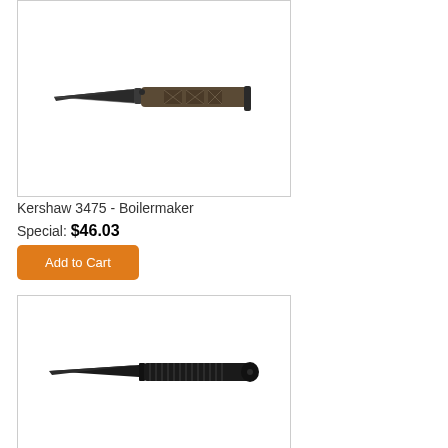[Figure (photo): Kershaw 3475 Boilermaker folding knife with dark olive/brown handle and black blade, shown open]
Kershaw 3475 - Boilermaker
Special: $46.03
Add to Cart
[Figure (photo): Black fixed blade knife with black cord-wrapped handle, shown horizontally]